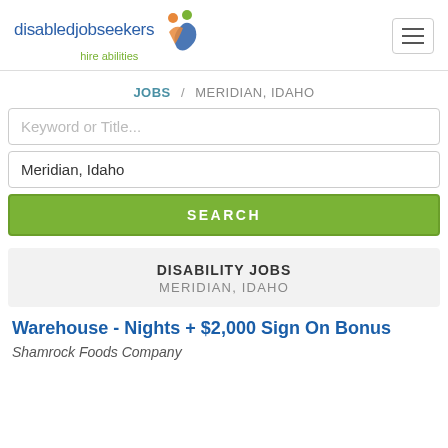disabledjobseekers hire abilities
JOBS / MERIDIAN, IDAHO
Keyword or Title...
Meridian, Idaho
SEARCH
DISABILITY JOBS
MERIDIAN, IDAHO
Warehouse - Nights + $2,000 Sign On Bonus
Shamrock Foods Company